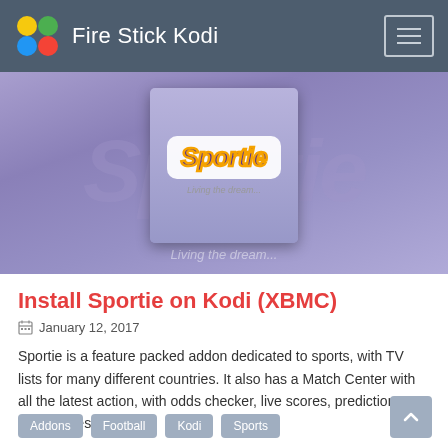Fire Stick Kodi
[Figure (photo): Hero banner image showing the Sportie Kodi addon logo on a purple gradient background. The Sportie logo features stylized text with an orange/yellow glow effect. Tagline reads 'Living the dream...']
Install Sportie on Kodi (XBMC)
January 12, 2017
Sportie is a feature packed addon dedicated to sports, with TV lists for many different countries. It also has a Match Center with all the latest action, with odds checker, live scores, predictions, form guides.
Addons
Football
Kodi
Sports